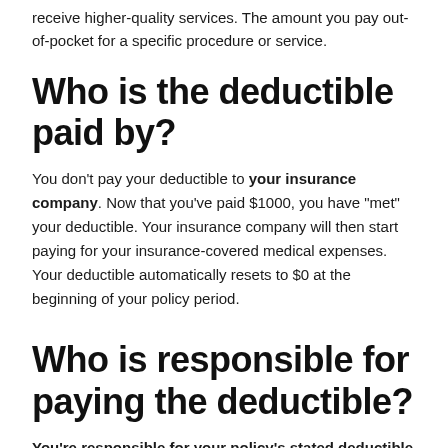receive higher-quality services. The amount you pay out-of-pocket for a specific procedure or service.
Who is the deductible paid by?
You don't pay your deductible to your insurance company. Now that you've paid $1000, you have "met" your deductible. Your insurance company will then start paying for your insurance-covered medical expenses. Your deductible automatically resets to $0 at the beginning of your policy period.
Who is responsible for paying the deductible?
You're responsible for your policy's stated deductible